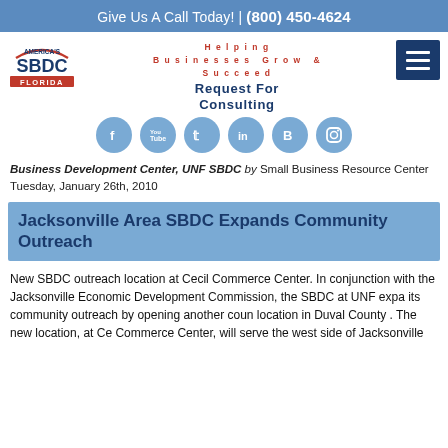Give Us A Call Today! | (800) 450-4624
[Figure (logo): America's SBDC Florida logo]
Helping Businesses Grow & Succeed
Request For Consulting
[Figure (infographic): Social media icons: Facebook, YouTube, Twitter, LinkedIn, Blogger, Instagram]
Business Development Center, UNF SBDC by Small Business Resource Center Tuesday, January 26th, 2010
Jacksonville Area SBDC Expands Community Outreach
New SBDC outreach location at Cecil Commerce Center. In conjunction with the Jacksonville Economic Development Commission, the SBDC at UNF expands its community outreach by opening another counseling location in Duval County . The new location, at Cecil Commerce Center, will serve the west side of Jacksonville